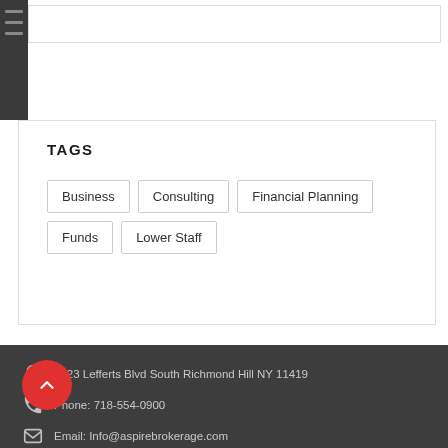TAGS
Business
Consulting
Financial Planning
Funds
Lower Staff
9423 Lefferts Blvd South Richmond Hill NY 11419
Phone: 718-554-0900
Email: Info@aspirebrokerage.com